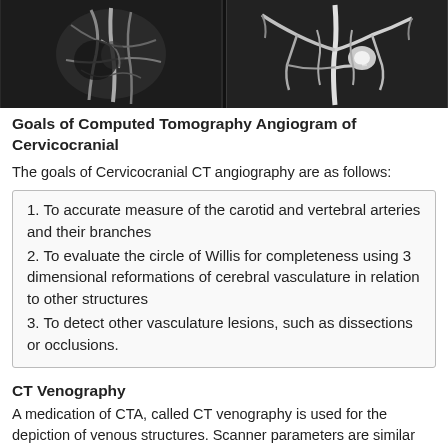[Figure (photo): Two grayscale CT angiography images of cervicocranial vasculature side by side, showing blood vessels in black and white contrast.]
Goals of Computed Tomography Angiogram of Cervicocranial
The goals of Cervicocranial CT angiography are as follows:
1. To accurate measure of the carotid and vertebral arteries and their branches
2. To evaluate the circle of Willis for completeness using 3 dimensional reformations of cerebral vasculature in relation to other structures
3. To detect other vasculature lesions, such as dissections or occlusions.
CT Venography
A medication of CTA, called CT venography is used for the depiction of venous structures. Scanner parameters are similar